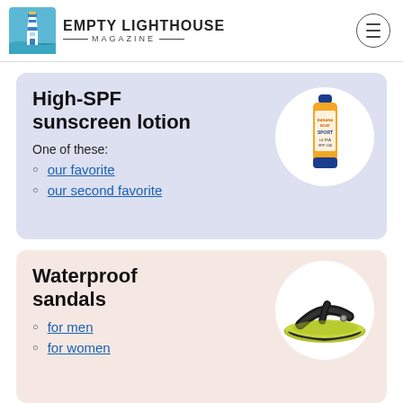EMPTY LIGHTHOUSE MAGAZINE
High-SPF sunscreen lotion
One of these:
our favorite
our second favorite
[Figure (photo): Sunscreen spray bottle (orange and blue)]
Waterproof sandals
for men
for women
[Figure (photo): Black and green waterproof flip-flop sandal]